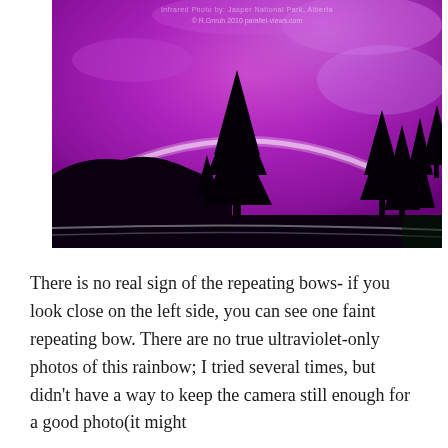[Figure (photo): A photograph of a rainbow in a dramatically purple-magenta sky at dusk or during a storm, with silhouettes of conifer trees and a hillside in the foreground, and a road visible at the bottom. A faint white arc of the rainbow is visible against the vivid purple sky. Watermark text visible at the top: copyright R.Gnruh 2010 parallel-views.com]
There is no real sign of the repeating bows- if you look close on the left side, you can see one faint repeating bow. There are no true ultraviolet-only photos of this rainbow; I tried several times, but didn't have a way to keep the camera still enough for a good photo(it might